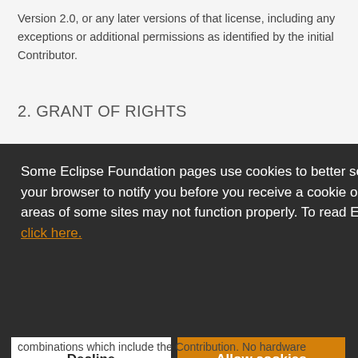Version 2.0, or any later versions of that license, including any exceptions or additional permissions as identified by the initial Contributor.
2. GRANT OF RIGHTS
[Figure (other): Cookie consent overlay popup on Eclipse Foundation website. Dark background panel with white text: 'Some Eclipse Foundation pages use cookies to better serve you when you return to the site. You can set your browser to notify you before you receive a cookie or turn off cookies. If you do so, however, some areas of some sites may not function properly. To read Eclipse Foundation Privacy Policy click here.' Two buttons: white 'Decline' button and orange 'Allow cookies' button.]
combinations which include the Contribution. No hardware